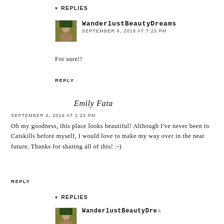▾ REPLIES
WanderlustBeautyDreams
SEPTEMBER 6, 2019 AT 7:23 PM
For sure!!
REPLY
Emily Fata
SEPTEMBER 6, 2019 AT 1:23 PM
Oh my goodness, this place looks beautiful! Although I've never been to Catskills before myself, I would love to make my way over in the near future. Thanks for sharing all of this! :-)
REPLY
▾ REPLIES
WanderlustBeautyDreams